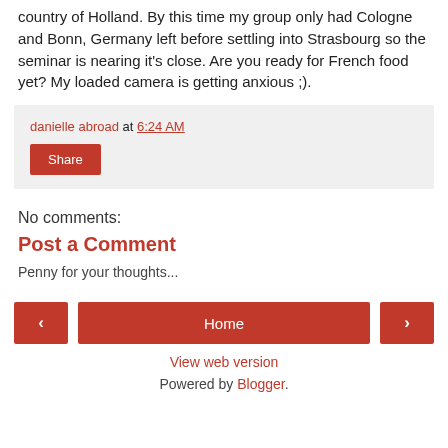country of Holland. By this time my group only had Cologne and Bonn, Germany left before settling into Strasbourg so the seminar is nearing it's close. Are you ready for French food yet? My loaded camera is getting anxious ;).
danielle abroad at 6:24 AM
Share
No comments:
Post a Comment
Penny for your thoughts...
‹ Home ›
View web version
Powered by Blogger.